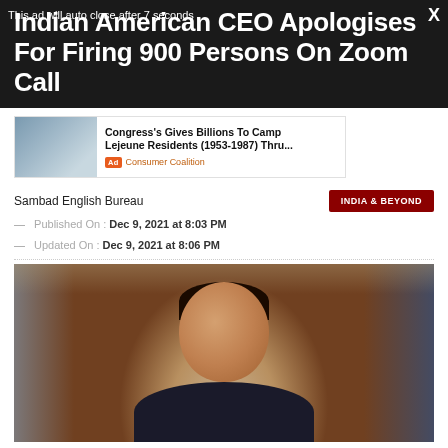Indian American CEO Apologises For Firing 900 Persons On Zoom Call
This ad will auto close after 7 seconds  X
[Figure (other): Advertisement banner: Congress's Gives Billions To Camp Lejeune Residents (1953-1987) Thru... Consumer Coalition]
Sambad English Bureau
INDIA & BEYOND
— Published On : Dec 9, 2021 at 8:03 PM
— Updated On : Dec 9, 2021 at 8:06 PM
[Figure (photo): Photo of an Indian American man (likely Vishal Garg, CEO of Better.com), smiling, in a professional headshot style with blurred background.]